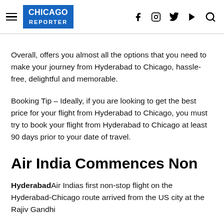CHICAGO REPORTER
Overall, offers you almost all the options that you need to make your journey from Hyderabad to Chicago, hassle-free, delightful and memorable.
Booking Tip – Ideally, if you are looking to get the best price for your flight from Hyderabad to Chicago, you must try to book your flight from Hyderabad to Chicago at least 90 days prior to your date of travel.
Air India Commences Non
HyderabadAir Indias first non-stop flight on the Hyderabad-Chicago route arrived from the US city at the Rajiv Gandhi